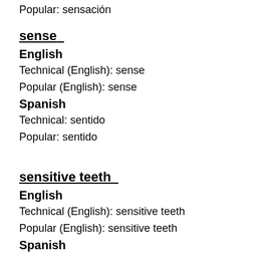Popular: sensación
sense
English
Technical (English): sense
Popular (English): sense
Spanish
Technical: sentido
Popular: sentido
sensitive teeth
English
Technical (English): sensitive teeth
Popular (English): sensitive teeth
Spanish